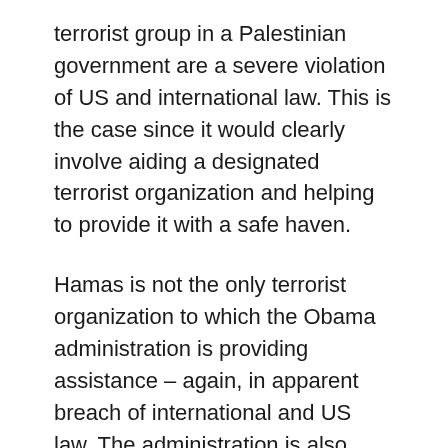terrorist group in a Palestinian government are a severe violation of US and international law. This is the case since it would clearly involve aiding a designated terrorist organization and helping to provide it with a safe haven.
Hamas is not the only terrorist organization to which the Obama administration is providing assistance – again, in apparent breach of international and US law. The administration is also aiding Hizbullah. Ahead of his June 4 address in Cairo, Obama met with members of the Egyptian Muslim Brotherhood at the White House. He also invited members of the Muslim Brotherhood to be present at his speech at Cairo University. Shortly before the White House meeting, Egyptian legal authorities alleged that the Muslim Brotherhood provided material